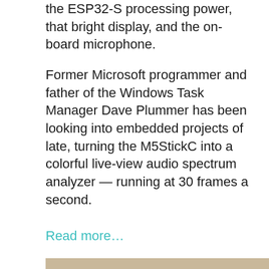the ESP32-S processing power, that bright display, and the on-board microphone.
Former Microsoft programmer and father of the Windows Task Manager Dave Plummer has been looking into embedded projects of late, turning the M5StickC into a colorful live-view audio spectrum analyzer — running at 30 frames a second.
Read more…
[Figure (photo): Photo of an M5StickC device (small red rectangular device) resting on a wooden surface. The device screen shows a colorful audio spectrum analyzer with vertical bars in rainbow colors (red, orange, yellow, green, blue, purple). To the right of the screen is a red button. In the bottom-right corner is a gray scroll-to-top button with an upward chevron arrow.]